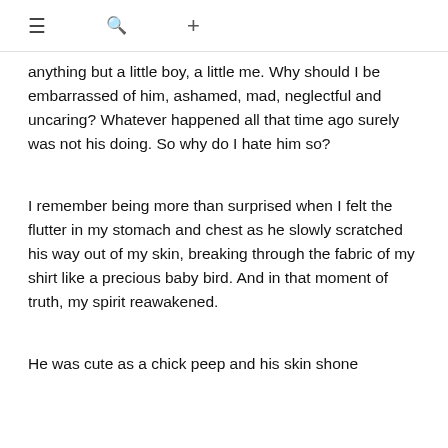≡  🔍  +
anything but a little boy, a little me. Why should I be embarrassed of him, ashamed, mad, neglectful and uncaring? Whatever happened all that time ago surely was not his doing. So why do I hate him so?
I remember being more than surprised when I felt the flutter in my stomach and chest as he slowly scratched his way out of my skin, breaking through the fabric of my shirt like a precious baby bird. And in that moment of truth, my spirit reawakened.
He was cute as a chick peep and his skin shone